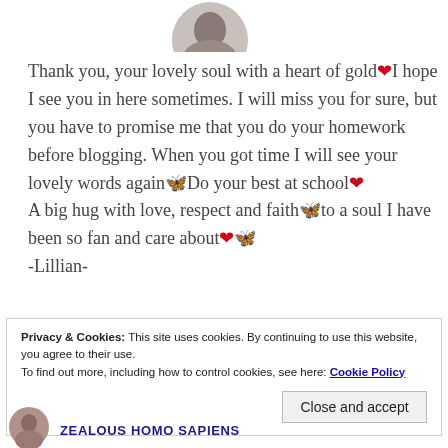[Figure (photo): Partial circular profile photo of a person, cropped at top of page]
Thank you, your lovely soul with a heart of gold❤️ I hope I see you in here sometimes. I will miss you for sure, but you have to promise me that you do your homework before blogging. When you got time I will see your lovely words again🦋Do your best at school❤️
A big hug with love, respect and faith🦋to a soul I have been so fan and care about❤️🦋
-Lillian-
Privacy & Cookies: This site uses cookies. By continuing to use this website, you agree to their use.
To find out more, including how to control cookies, see here: Cookie Policy
Close and accept
[Figure (photo): Partial circular profile avatar at bottom of page, pinkish-brown color]
ZEALOUS HOMO SAPIENS